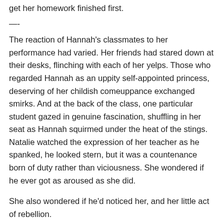get her homework finished first.
—-
The reaction of Hannah's classmates to her performance had varied. Her friends had stared down at their desks, flinching with each of her yelps. Those who regarded Hannah as an uppity self-appointed princess, deserving of her childish comeuppance exchanged smirks. And at the back of the class, one particular student gazed in genuine fascination, shuffling in her seat as Hannah squirmed under the heat of the stings. Natalie watched the expression of her teacher as he spanked, he looked stern, but it was a countenance born of duty rather than viciousness. She wondered if he ever got as aroused as she did.
She also wondered if he'd noticed her, and her little act of rebellion.
School uniform consisted of a white blouse and navy